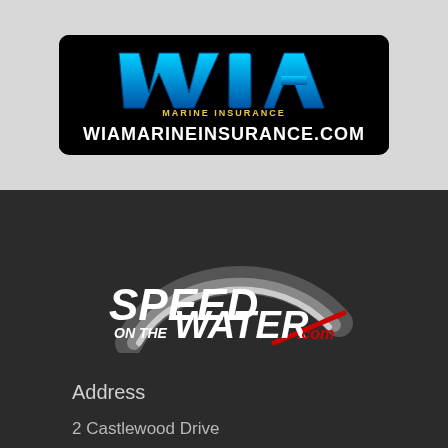[Figure (logo): WIA Marine Insurance logo with text WIAMARINEINSURANCE.COM on black background]
[Figure (logo): Speed On The Water .com logo on dark background with speedometer arc graphic]
Address
2 Castlewood Drive
Pleasanton, CA 94566